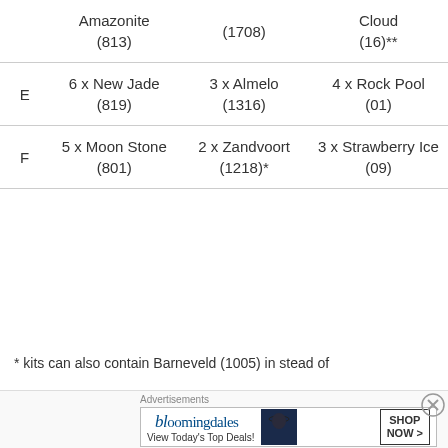|  | Col1 | Col2 | Col3 |
| --- | --- | --- | --- |
|  | Amazonite
(813) | (1708) | Cloud
(16)** |
| E | 6 x New Jade
(819) | 3 x Almelo
(1316) | 4 x Rock Pool
(01) |
| F | 5 x Moon Stone
(801) | 2 x Zandvoort
(1218)* | 3 x Strawberry Ice
(09) |
* kits can also contain Barneveld (1005) in stead of